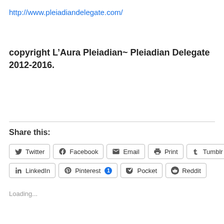http://www.pleiadiandelegate.com/
copyright L’Aura Pleiadian~ Pleiadian Delegate 2012-2016.
Share this:
Twitter  Facebook  Email  Print  Tumblr  LinkedIn  Pinterest 1  Pocket  Reddit
Loading...